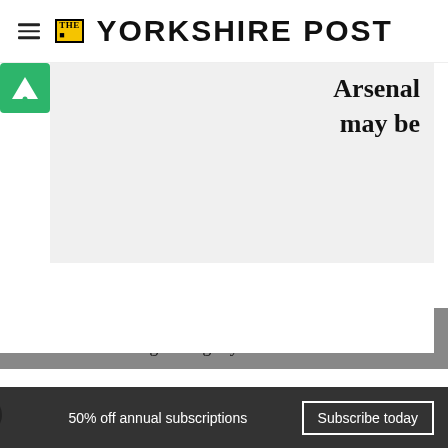THE YORKSHIRE POST
[Figure (logo): Adskeeper green logo icon with triangle/A symbol]
Arsenal may be
[Figure (photo): Article image placeholder (grey area)]
favourites to lift the trophy, Wenger will certainly not be taking the threat of Birmingham lightly.
50% off annual subscriptions
Subscribe today